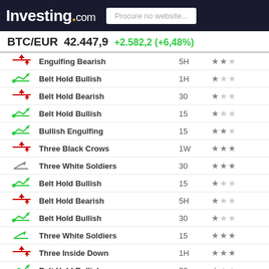Investing.com — Procure no website...
BTC/EUR  42.447,9  +2.582,2 (+6,48%)
| Icon | Pattern | Timeframe | Reliability |
| --- | --- | --- | --- |
| bearish | Engulfing Bearish | 5H | ★★☆ |
| bullish | Belt Hold Bullish | 1H | ★☆☆ |
| bearish | Belt Hold Bearish | 30 | ★☆☆ |
| bullish | Belt Hold Bullish | 15 | ★☆☆ |
| bullish | Bullish Engulfing | 15 | ★★☆ |
| bearish | Three Black Crows | 1W | ★★★ |
| neutral | Three White Soldiers | 30 | ★★★ |
| bullish | Belt Hold Bullish | 15 | ★☆☆ |
| bearish | Belt Hold Bearish | 5H | ★☆☆ |
| bullish | Belt Hold Bullish | 30 | ★☆☆ |
| neutral | Three White Soldiers | 15 | ★★★ |
| bearish | Three Inside Down | 1H | ★★★ |
| bullish | Belt Hold Bullish | 30 | ★☆☆ |
| bullish | Belt Hold Bullish | 15 | ★☆☆ |
| bullish | Three Outside Up | 30 | ★★★ |